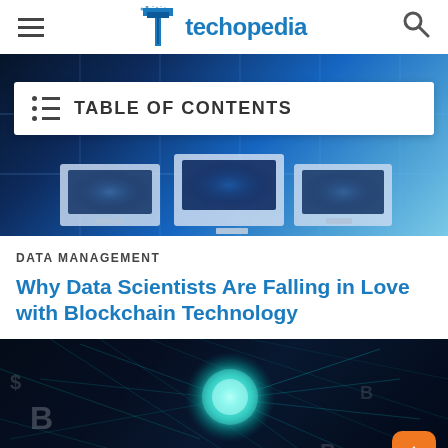techopedia
[Figure (screenshot): Hero banner with blue tech background showing computer monitors and a Table of Contents overlay panel]
DATA MANAGEMENT
Why Data Scientists Are Falling in Love with Blockchain Technology
[Figure (photo): Dark background with glowing teal orb and blockchain/bitcoin symbols with network lines]